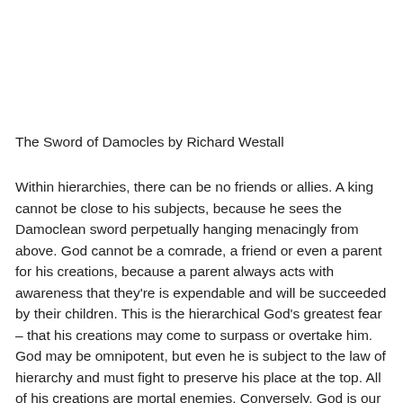The Sword of Damocles by Richard Westall
Within hierarchies, there can be no friends or allies. A king cannot be close to his subjects, because he sees the Damoclean sword perpetually hanging menacingly from above. God cannot be a comrade, a friend or even a parent for his creations, because a parent always acts with awareness that they're is expendable and will be succeeded by their children. This is the hierarchical God's greatest fear – that his creations may come to surpass or overtake him. God may be omnipotent, but even he is subject to the law of hierarchy and must fight to preserve his place at the top. All of his creations are mortal enemies. Conversely, God is our mortal enemy.